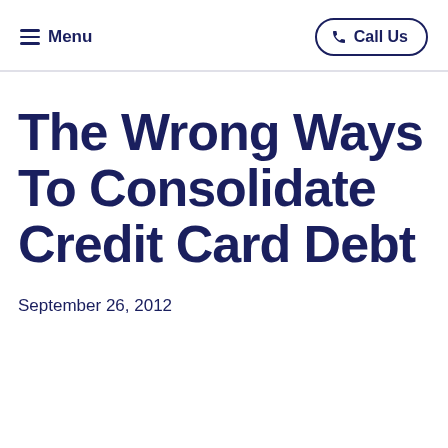Menu   Call Us
The Wrong Ways To Consolidate Credit Card Debt
September 26, 2012